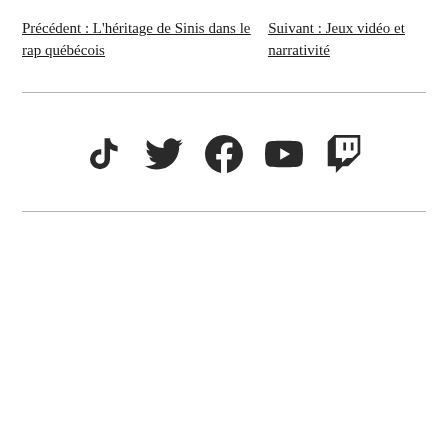Précédent : L'héritage de Sinis dans le rap québécois
Suivant : Jeux vidéo et narrativité
[Figure (infographic): Social media icons row: TikTok, Twitter, Facebook, YouTube, Twitch]